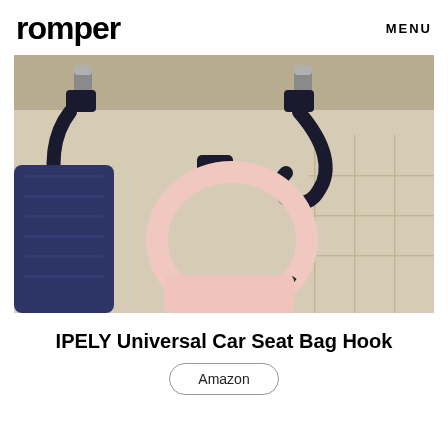romper
MENU
[Figure (photo): Close-up photo of black car headrest hooks holding handbags — a pink handbag in the center and a dark navy bag to the left, mounted on beige leather car seat headrests.]
IPELY Universal Car Seat Bag Hook
Amazon